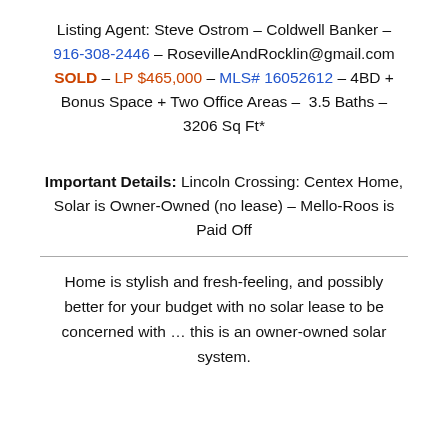Listing Agent: Steve Ostrom – Coldwell Banker – 916-308-2446 – RosevilleAndRocklin@gmail.com
SOLD – LP $465,000 – MLS# 16052612 – 4BD + Bonus Space + Two Office Areas – 3.5 Baths – 3206 Sq Ft*
Important Details: Lincoln Crossing: Centex Home, Solar is Owner-Owned (no lease) – Mello-Roos is Paid Off
Home is stylish and fresh-feeling, and possibly better for your budget with no solar lease to be concerned with … this is an owner-owned solar system.